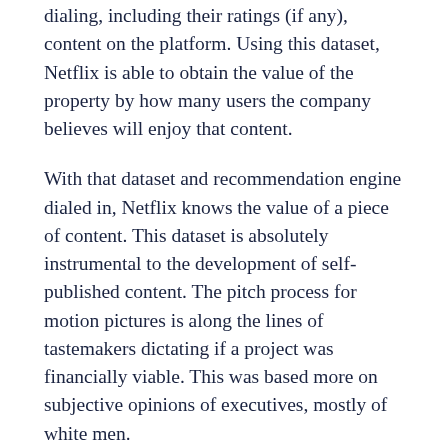dialing, including their ratings (if any), content on the platform. Using this dataset, Netflix is able to obtain the value of the property by how many users the company believes will enjoy that content.
With that dataset and recommendation engine dialed in, Netflix knows the value of a piece of content. This dataset is absolutely instrumental to the development of self-published content. The pitch process for motion pictures is along the lines of tastemakers dictating if a project was financially viable. This was based more on subjective opinions of executives, mostly of white men.
What happens when you take a pitch, do the tagging work as if the piece existed, and see what potential viewership numbers come out? Now you have a more calculated guess to the financial viability of a project. This is how we got Orange is the New Black after their calls were already taken place.